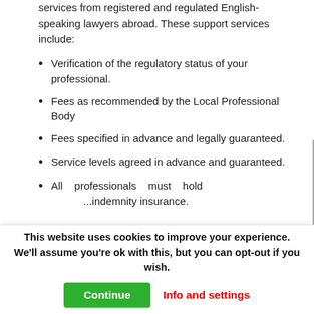services from registered and regulated English-speaking lawyers abroad. These support services include:
Verification of the regulatory status of your professional.
Fees as recommended by the Local Professional Body
Fees specified in advance and legally guaranteed.
Service levels agreed in advance and guaranteed.
All professionals must hold ... indemnity insurance.
This website uses cookies to improve your experience. We'll assume you're ok with this, but you can opt-out if you wish.
Continue | Info and settings